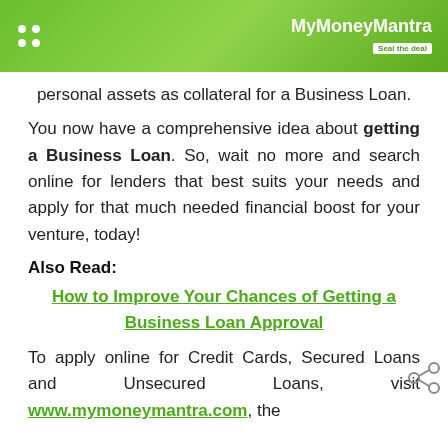MyMoneyMantra — Seal the deal
personal assets as collateral for a Business Loan.
You now have a comprehensive idea about getting a Business Loan. So, wait no more and search online for lenders that best suits your needs and apply for that much needed financial boost for your venture, today!
Also Read:
How to Improve Your Chances of Getting a Business Loan Approval
To apply online for Credit Cards, Secured Loans and Unsecured Loans, visit www.mymoneymantra.com, the